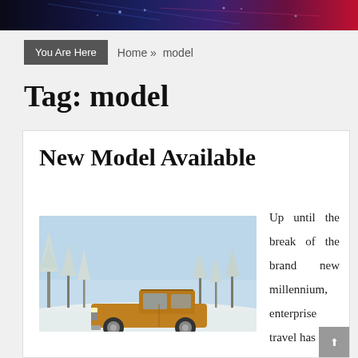You Are Here   Home » model
Tag: model
New Model Available
[Figure (photo): A golden/brown pickup truck driving on a snowy road with snow-covered trees in the background.]
Up until the break of the brand new millennium, enterprise travel has all